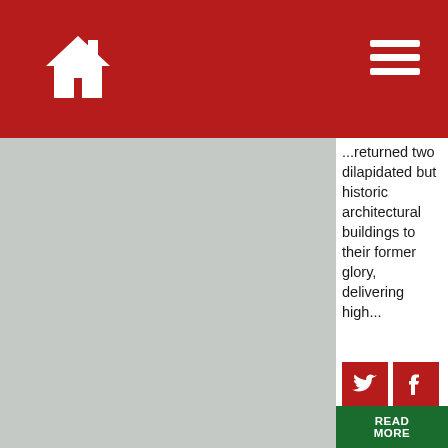[Figure (screenshot): Grey placeholder image on the left side of the page]
...returned two dilapidated but historic architectural buildings to their former glory, delivering high...
[Figure (infographic): Twitter and Facebook social media share buttons (red), two rows]
READ MORE